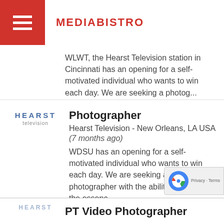MEDIABISTRO
WLWT, the Hearst Television station in Cincinnati has an opening for a self-motivated individual who wants to win each day. We are seeking a photog...
Photographer
Hearst Television - New Orleans, LA USA
(7 months ago)
WDSU has an opening for a self-motivated individual who wants to win each day. We are seeking a photographer with the ability to capture the essenc...
PT Video Photographer